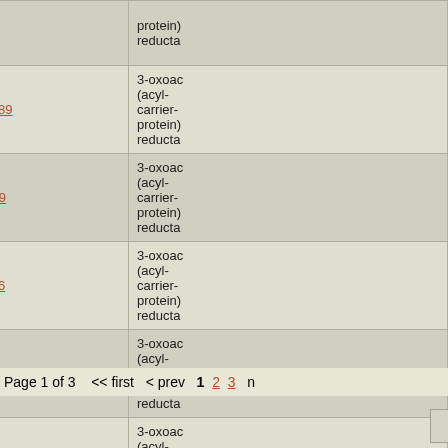| (checkbox) | NC Accession | Gene | Description |
| --- | --- | --- | --- |
|  | NC_008709 | Ping_1089 | 3-oxoacyl-(acyl-carrier-protein) reducta… |
|  | NC_008345 | Sfri_1499 | 3-oxoacyl-(acyl-carrier-protein) reducta… |
|  | NC_004347 | SO_2776 | 3-oxoacyl-(acyl-carrier-protein) reducta… |
|  | NC_009092 | Shew_1603 | 3-oxoacyl-(acyl-carrier-protein) reducta… |
|  | NC_009665 | Shew185_1716 | 3-oxoacyl-(acyl-carrier-protein) reducta… |
Page 1 of 3   << first  < prev  1  2  3  n